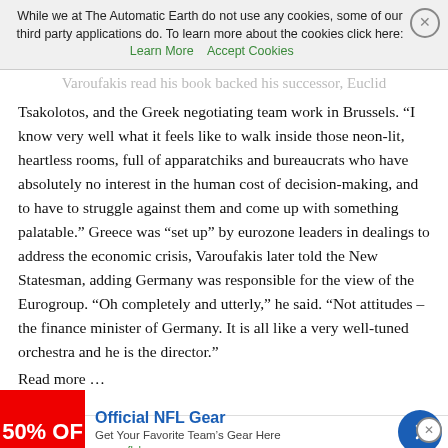to go back to Brussels and strike what he knows to be an impossible deal. A deal that is simply not viable.
Varoufakis read his book backed his successor, Euclid Tsakolotos, and the Greek negotiating team work in Brussels. “I know very well what it feels like to walk inside those neon-lit, heartless rooms, full of apparatchiks and bureaucrats who have absolutely no interest in the human cost of decision-making, and to have to struggle against them and come up with something palatable.” Greece was “set up” by eurozone leaders in dealings to address the economic crisis, Varoufakis later told the New Statesman, adding Germany was responsible for the view of the Eurogroup. “Oh completely and utterly,” he said. “Not attitudes – the finance minister of Germany. It is all like a very well-tuned orchestra and he is the director.”
Read more …
Official NFL Gear
Get Your Favorite Team’s Gear Here
www.nflshop.com